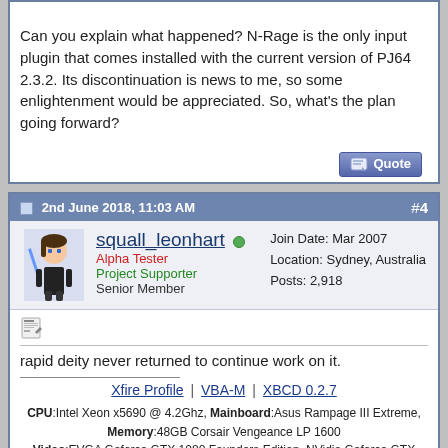Can you explain what happened? N-Rage is the only input plugin that comes installed with the current version of PJ64 2.3.2. Its discontinuation is news to me, so some enlightenment would be appreciated. So, what's the plan going forward?
2nd June 2018, 11:03 AM
#4
squall_leonhart
Alpha Tester
Project Supporter
Senior Member
Join Date: Mar 2007
Location: Sydney, Australia
Posts: 2,918
rapid deity never returned to continue work on it.
Xfire Profile | VBA-M | XBCD 0.2.7
CPU:Intel Xeon x5690 @ 4.2Ghz, Mainboard:Asus Rampage III Extreme, Memory:48GB Corsair Vengeance LP 1600 Video:EVGA Geforce GTX 1080 Founders Edition, NVidia Geforce GTX 1060 Founders Edition Monitor:ROG PG279Q, BenQ BL2211, Sound:Creative XFI Titanium Fatal1ty Pro SDD:Crucial MX300 275, Crucial MX300 525, Crucial MX300 1000 HDD:500GB Spinpoint F3, 1TB WD Black, 2TB WD Red, 1TB WD Black Case:NZXT Phantom 820, PSU:Seasonic X-850, OS:Windows 7 SP1